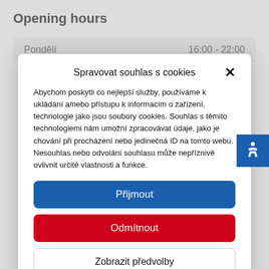Opening hours
| Day | Hours |
| --- | --- |
| Pondělí | 16:00 - 22:00 |
Spravovat souhlas s cookies
Abychom poskytli co nejlepší služby, používáme k ukládání a/nebo přístupu k informacím o zařízení, technologie jako jsou soubory cookies. Souhlas s těmito technologiemi nám umožní zpracovávat údaje, jako je chování při procházení nebo jedinečná ID na tomto webu. Nesouhlas nebo odvolání souhlasu může nepříznivě ovlivnit určité vlastnosti a funkce.
Přijmout
Odmítnout
Zobrazit předvolby
Zásady cookies